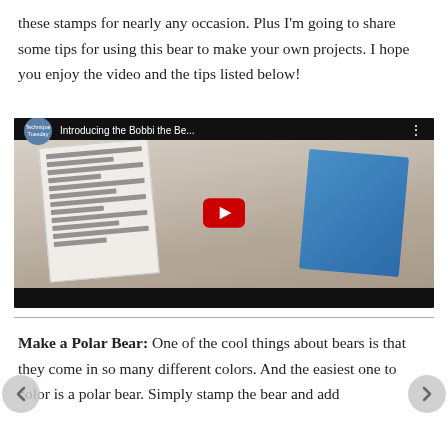these stamps for nearly any occasion. Plus I'm going to share some tips for using this bear to make your own projects. I hope you enjoy the video and the tips listed below!
[Figure (screenshot): Embedded YouTube video thumbnail showing 'Introducing the Bobbi the Be...' by Technique Tuesday channel. The thumbnail shows stamp products and greeting cards on a wooden table, with a YouTube play button in the center.]
Make a Polar Bear: One of the cool things about bears is that they come in so many different colors. And the easiest one to color is a polar bear. Simply stamp the bear and add